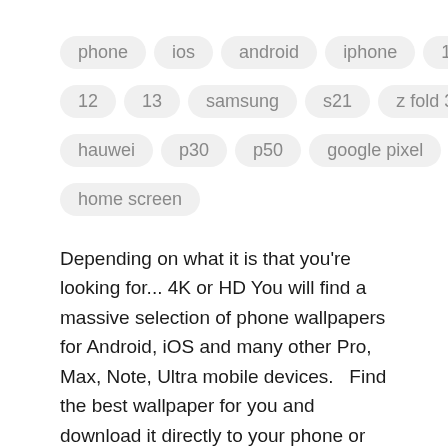phone  ios  android  iphone  11
12  13  samsung  s21  z fold 3
hauwei  p30  p50  google pixel
home screen
Depending on what it is that you're looking for... 4K or HD You will find a massive selection of phone wallpapers for Android, iOS and many other Pro, Max, Note, Ultra mobile devices.  Find the best wallpaper for you and download it directly to your phone or easily transfer your new wallpaper from your Pc, Mac or Chromebook computer to